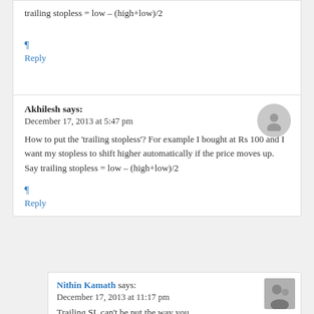trailing stopless = low – (high+low)/2
¶
Reply
Akhilesh says:
December 17, 2013 at 5:47 pm
How to put the 'trailing stopless'? For example I bought at Rs 100 and I want my stopless to shift higher automatically if the price moves up. Say trailing stopless = low – (high+low)/2
¶
Reply
Nithin Kamath says:
December 17, 2013 at 11:17 pm
Trailing SL can't be put the way you